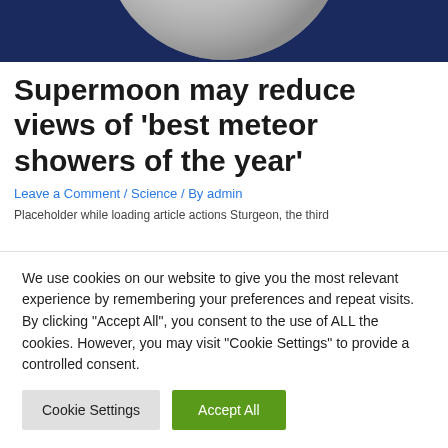[Figure (photo): Partial view of the moon against a dark navy blue background, showing crater details on the lunar surface.]
Supermoon may reduce views of ‘best meteor showers of the year’
Leave a Comment / Science / By admin
Placeholder while loading article actions Sturgeon, the third
We use cookies on our website to give you the most relevant experience by remembering your preferences and repeat visits. By clicking “Accept All”, you consent to the use of ALL the cookies. However, you may visit "Cookie Settings" to provide a controlled consent.